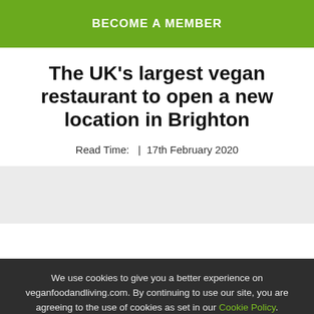BECOME A MEMBER
The UK's largest vegan restaurant to open a new location in Brighton
Read Time:  |  17th February 2020
We use cookies to give you a better experience on veganfoodandliving.com. By continuing to use our site, you are agreeing to the use of cookies as set in our Cookie Policy.
OK, got it